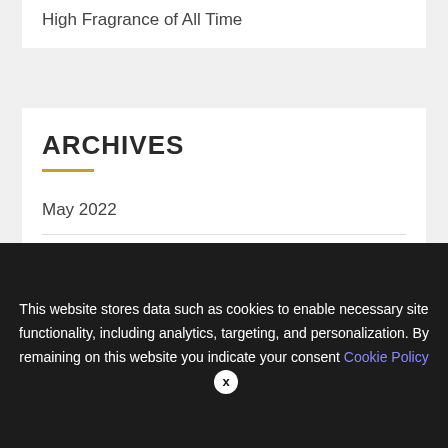High Fragrance of All Time
ARCHIVES
May 2022
March 2022
February 2022
We use cookies on our website to give you the most relevant experience by remembering your preferences and repeat visits. By clicking “Accept All”, you consent to the use of ALL the controlled consent.
This website stores data such as cookies to enable necessary site functionality, including analytics, targeting, and personalization. By remaining on this website you indicate your consent Cookie Policy ✕